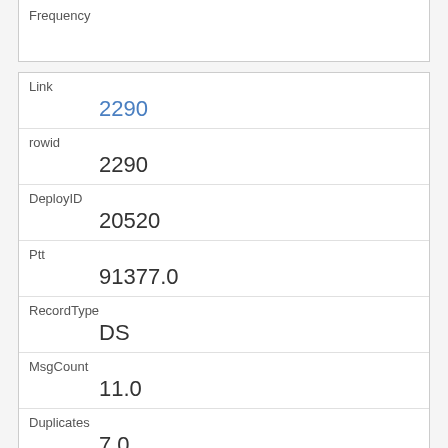| Frequency |  |
| Link | 2290 |
| rowid | 2290 |
| DeployID | 20520 |
| Ptt | 91377.0 |
| RecordType | DS |
| MsgCount | 11.0 |
| Duplicates | 7.0 |
| Corrupt | 0.0 |
| AvgInterval |  |